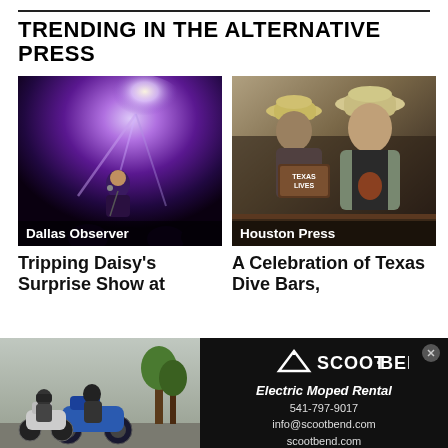TRENDING IN THE ALTERNATIVE PRESS
[Figure (photo): Concert photo with purple stage lighting and performer on stage, labeled Dallas Observer]
[Figure (photo): Two men in cowboy hats at what appears to be a Texas bar, labeled Houston Press]
Tripping Daisy's Surprise Show at
A Celebration of Texas Dive Bars,
[Figure (photo): Advertisement for Scoot Bend Electric Moped Rental with person on moped and contact info: 541-797-9017, info@scootbend.com, scootbend.com]